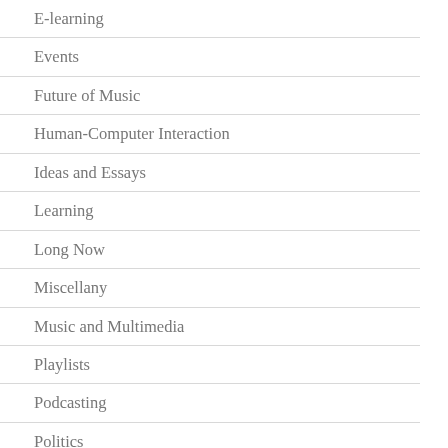E-learning
Events
Future of Music
Human-Computer Interaction
Ideas and Essays
Learning
Long Now
Miscellany
Music and Multimedia
Playlists
Podcasting
Politics
Radio
Reviews
Social Software